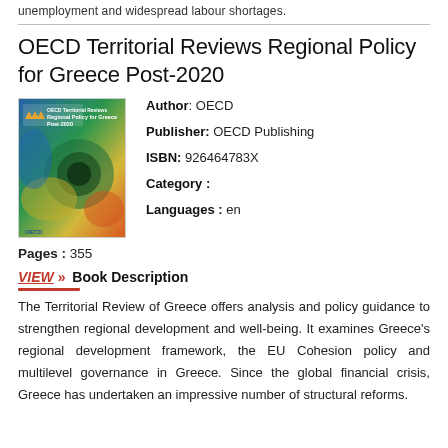unemployment and widespread labour shortages.
OECD Territorial Reviews Regional Policy for Greece Post-2020
[Figure (illustration): Book cover of OECD Territorial Reviews Regional Policy for Greece Post-2020 with colorful abstract design]
Author: OECD
Publisher: OECD Publishing
ISBN: 926464783X
Category :
Languages : en
Pages : 355
VIEW » Book Description
The Territorial Review of Greece offers analysis and policy guidance to strengthen regional development and well-being. It examines Greece's regional development framework, the EU Cohesion policy and multilevel governance in Greece. Since the global financial crisis, Greece has undertaken an impressive number of structural reforms.